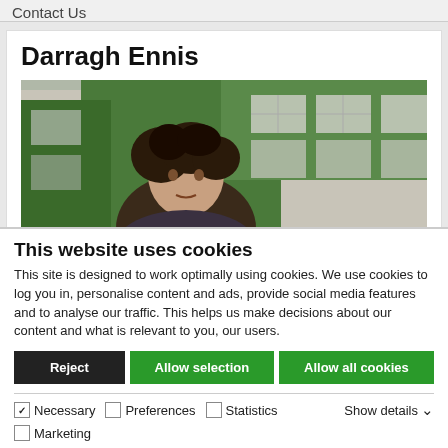Contact Us
Darragh Ennis
[Figure (photo): Photo of Darragh Ennis, a man with curly dark hair, standing in front of an ivy-covered stone building with large windows.]
This website uses cookies
This site is designed to work optimally using cookies. We use cookies to log you in, personalise content and ads, provide social media features and to analyse our traffic. This helps us make decisions about our content and what is relevant to you, our users.
Reject | Allow selection | Allow all cookies
Necessary  Preferences  Statistics  Marketing  Show details